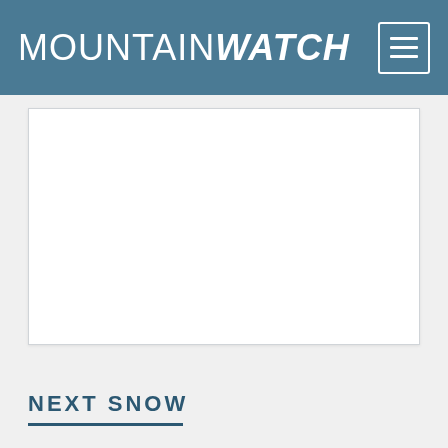MOUNTAINWATCH
[Figure (other): White rectangular content area with a left border line, representing a blank article or map embed area]
NEXT SNOW